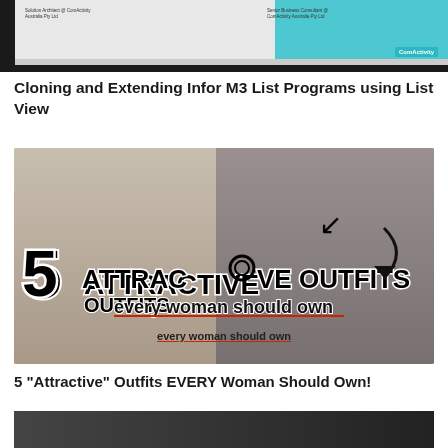[Figure (screenshot): Thumbnail image showing a presentation slide with ComActivity branding on a dark background, with a white slide visible containing text about Solution Architects and Senior Business Consultants]
Cloning and Extending Infor M3 List Programs using List View
[Figure (photo): Thumbnail image with text overlay reading '5 ATTRACTIVE OUTFITS every woman should own' showing two women in fashionable outfits]
5 "Attractive" Outfits EVERY Woman Should Own!
[Figure (screenshot): Partially visible dark thumbnail at the bottom of the page]